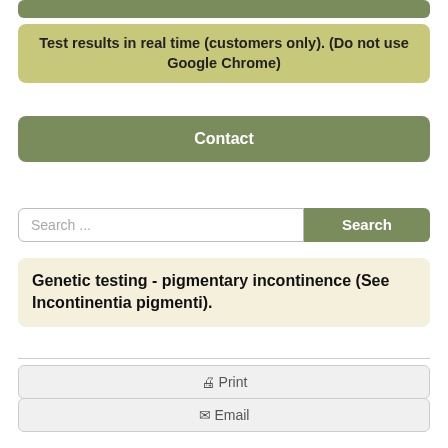Test results in real time (customers only). (Do not use Google Chrome)
Contact
Search ...
Search
Genetic testing - pigmentary incontinence (See Incontinentia pigmenti).
Print
Email
See:
Incontinentia pigmenti; Bloch-Siemens-Sulzberger syndrome ...; (Incontinentia pigmenti, Bloch-Siemens-Sulzberger Syndrome) - Gen IKBKG.
Home
Back